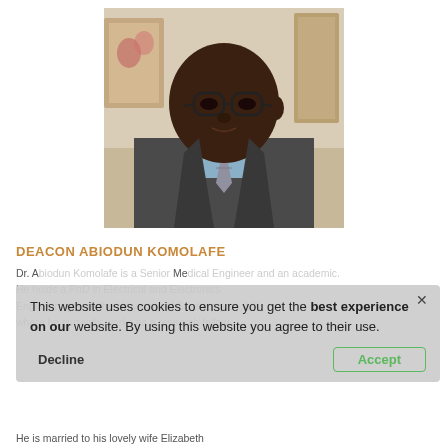[Figure (photo): Portrait photo of a man wearing glasses and a grey suit with a striped tie, with artwork visible in the background.]
DEACON ABIODUN KOMOLAFE
Dr. A... Me... He holds a PhD in Electrical and Electronics Engineering from the University of Southampton, UK, where he currently works as a research fellow.
This website uses cookies to ensure you get the best experience on our website. By using this website you agree to their use.
He is married to his lovely wife Elizabeth